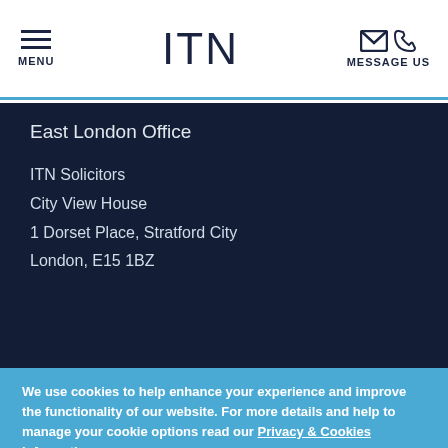MENU | ITN | MESSAGE US
East London Office
ITN Solicitors
City View House
1 Dorset Place, Stratford City
London, E15 1BZ
We use cookies to help enhance your experience and improve the functionality of our website. For more details and help to manage your cookie options read our Privacy & Cookies information.
CLOSE